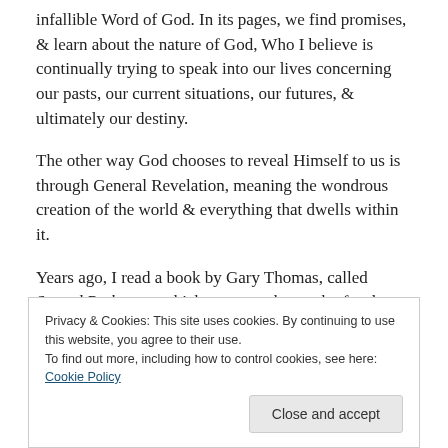infallible Word of God. In its pages, we find promises, & learn about the nature of God, Who I believe is continually trying to speak into our lives concerning our pasts, our current situations, our futures, & ultimately our destiny.
The other way God chooses to reveal Himself to us is through General Revelation, meaning the wondrous creation of the world & everything that dwells within it.
Years ago, I read a book by Gary Thomas, called Sacred Pathways, which suggests that each of us has a primary way in which we grow closer to the Lord. Call it your love
Privacy & Cookies: This site uses cookies. By continuing to use this website, you agree to their use.
To find out more, including how to control cookies, see here: Cookie Policy